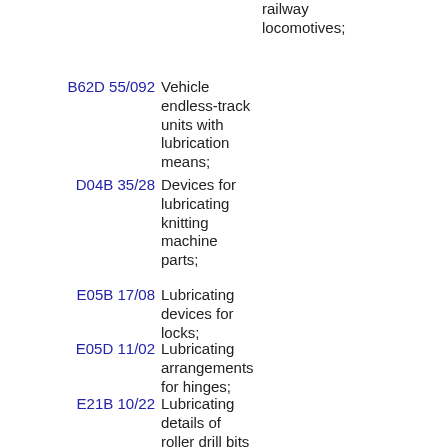railway locomotives;
B62D 55/092 Vehicle endless-track units with lubrication means;
D04B 35/28 Devices for lubricating knitting machine parts;
E05B 17/08 Lubricating devices for locks;
E05D 11/02 Lubricating arrangements for hinges;
E21B 10/22 Lubricating details of roller drill bits for earth; drilling.